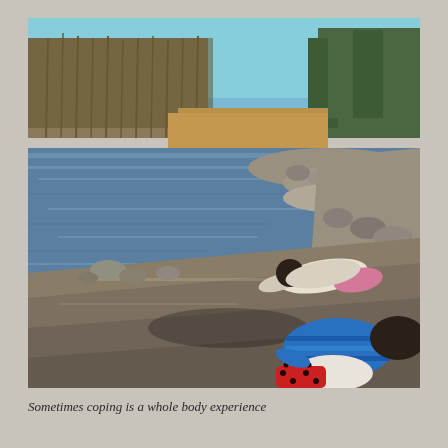[Figure (photo): Two children playing on a sandy riverbank. One child in a blue striped top with red polka-dot rain boots is crouched down digging in the sand in the foreground. Another child in a light top with pink pants is lying prone further up the bank near the water's edge. The river stretches across the middle of the image with rocky shores. Behind the river are bare trees, brown reeds, and green evergreen trees under a clear blue sky.]
Sometimes coping is a whole body experience